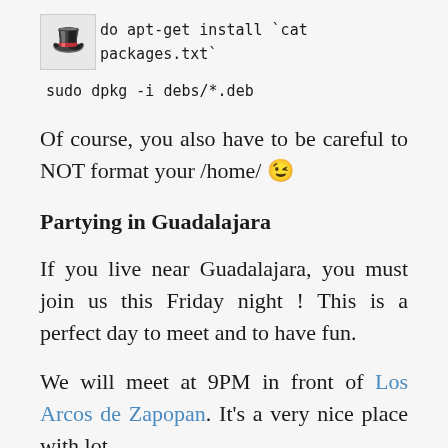sudo apt-get install `cat packages.txt`
sudo dpkg -i debs/*.deb
Of course, you also have to be careful to NOT format your /home/ 😉
Partying in Guadalajara
If you live near Guadalajara, you must join us this Friday night ! This is a perfect day to meet and to have fun.
We will meet at 9PM in front of Los Arcos de Zapopan. It's a very nice place with lot